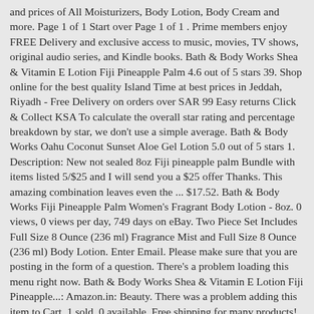and prices of All Moisturizers, Body Lotion, Body Cream and more. Page 1 of 1 Start over Page 1 of 1 . Prime members enjoy FREE Delivery and exclusive access to music, movies, TV shows, original audio series, and Kindle books. Bath & Body Works Shea & Vitamin E Lotion Fiji Pineapple Palm 4.6 out of 5 stars 39. Shop online for the best quality Island Time at best prices in Jeddah, Riyadh - Free Delivery on orders over SAR 99 Easy returns Click & Collect KSA To calculate the overall star rating and percentage breakdown by star, we don't use a simple average. Bath & Body Works Oahu Coconut Sunset Aloe Gel Lotion 5.0 out of 5 stars 1. Description: New not sealed 8oz Fiji pineapple palm Bundle with items listed 5/$25 and I will send you a $25 offer Thanks. This amazing combination leaves even the ... $17.52. Bath & Body Works Fiji Pineapple Palm Women's Fragrant Body Lotion - 8oz. 0 views, 0 views per day, 749 days on eBay. Two Piece Set Includes Full Size 8 Ounce (236 ml) Fragrance Mist and Full Size 8 Ounce (236 ml) Body Lotion. Enter Email. Please make sure that you are posting in the form of a question. There's a problem loading this menu right now. Bath & Body Works Shea & Vitamin E Lotion Fiji Pineapple...: Amazon.in: Beauty. There was a problem adding this item to Cart. 1 sold, 0 available. Free shipping for many products! Shop Bath and Body Works light moisturizing hand lotions and healing hand creams. Shipped with USPS First Class Package. Top subscription